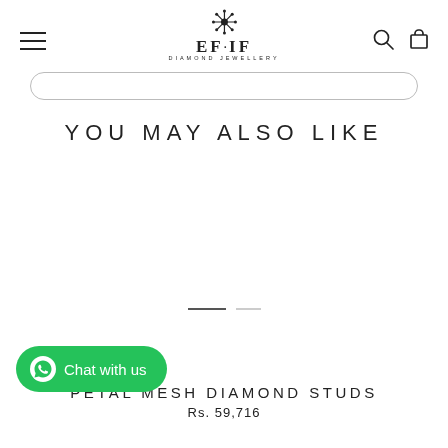EF·IF DIAMOND JEWELLERY navigation header with logo, hamburger menu, search and cart icons
YOU MAY ALSO LIKE
[Figure (other): Carousel indicator with two horizontal lines — one dark/active and one light/inactive]
PETAL MESH DIAMOND STUDS
Rs. 59,716
[Figure (other): WhatsApp Chat with us button — green rounded pill with WhatsApp icon]